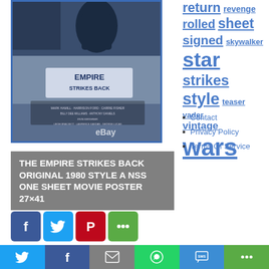[Figure (photo): The Empire Strikes Back original 1980 movie poster displayed on a wall, showing characters and the film title. Has eBay watermark. Surrounded by a blue border.]
return
revenge
rolled
sheet
signed
skywalker
star
strikes
style
teaser
vader
vintage
wars
Contact
Privacy Policy
Terms Of Service
THE EMPIRE STRIKES BACK ORIGINAL 1980 STYLE A NSS ONE SHEET MOVIE POSTER 27×41
[Figure (infographic): Social media share buttons: Facebook, Twitter, Pinterest, More options (row 1), and Twitter, Facebook, Email, WhatsApp, SMS, More (bottom bar row 2)]